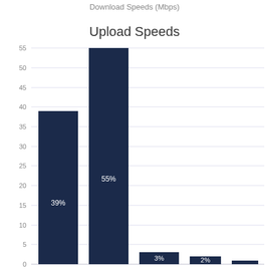Download Speeds (Mbps)
[Figure (bar-chart): Upload Speeds]